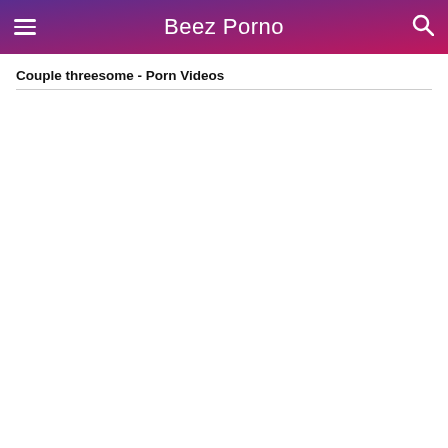Beez Porno
Couple threesome - Porn Videos